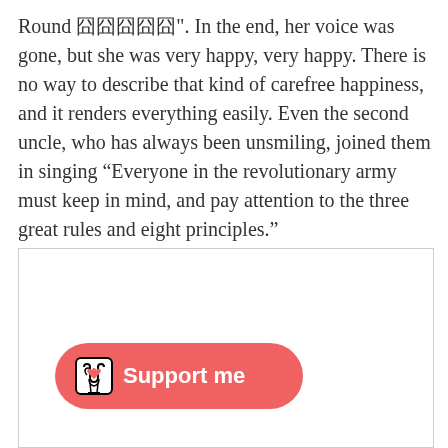Round 囧囧囧囧囧". In the end, her voice was gone, but she was very happy, very happy. There is no way to describe that kind of carefree happiness, and it renders everything easily. Even the second uncle, who has always been unsmiling, joined them in singing “Everyone in the revolutionary army must keep in mind, and pay attention to the three great rules and eight principles.”
[Figure (other): A white rectangular box with a light gray border, mostly empty/blank, partially visible at the bottom of the page. A 'Support me' button with a Ko-fi style cup-and-heart icon overlaps the lower-left of this box.]